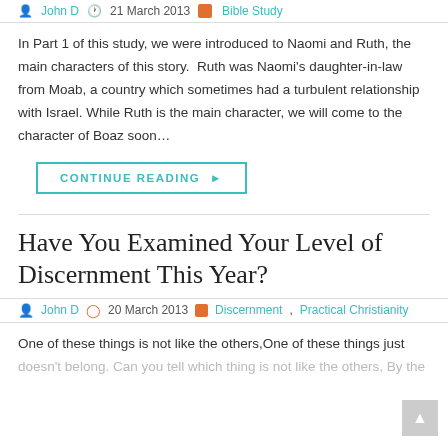John D  21 March 2013  Bible Study
In Part 1 of this study, we were introduced to Naomi and Ruth, the main characters of this story.  Ruth was Naomi's daughter-in-law from Moab, a country which sometimes had a turbulent relationship with Israel. While Ruth is the main character, we will come to the character of Boaz soon…
CONTINUE READING ▶
Have You Examined Your Level of Discernment This Year?
John D  20 March 2013  Discernment, Practical Christianity
One of these things is not like the others,One of these things just doesn't belong. Can you tell which thing is not like the others, By the